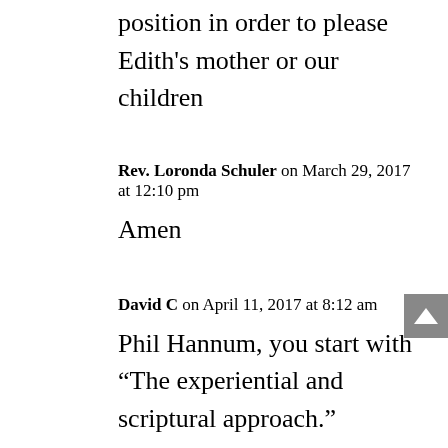position in order to please Edith's mother or our children
Rev. Loronda Schuler on March 29, 2017 at 12:10 pm
Amen
David C on April 11, 2017 at 8:12 am
Phil Hannum, you start with “The experiential and scriptural approach.”
I’m afraid I would have to beg to differ from that point forward. I believe that the vast